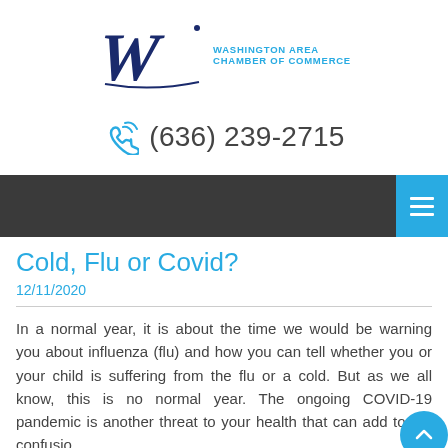[Figure (logo): Washington Area Chamber of Commerce logo with decorative W and blue text]
(636) 239-2715
[Figure (other): Dark navigation bar with cyan hamburger menu button on right]
Cold, Flu or Covid?
12/11/2020
In a normal year, it is about the time we would be warning you about influenza (flu) and how you can tell whether you or your child is suffering from the flu or a cold. But as we all know, this is no normal year. The ongoing COVID-19 pandemic is another threat to your health that can add to the confusio…